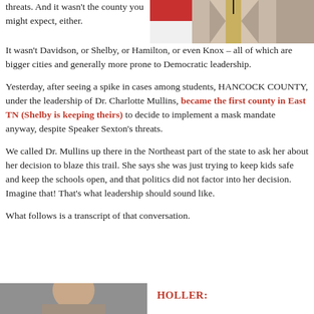[Figure (photo): Top portion: partial photo of a man in a grey suit with a gold/beige tie, speaking at a microphone, with an American flag visible in background. Left side shows text continuing from previous page.]
threats. And it wasn't the county you might expect, either.
It wasn't Davidson, or Shelby, or Hamilton, or even Knox – all of which are bigger cities and generally more prone to Democratic leadership.
Yesterday, after seeing a spike in cases among students, HANCOCK COUNTY, under the leadership of Dr. Charlotte Mullins, became the first county in East TN (Shelby is keeping theirs) to decide to implement a mask mandate anyway, despite Speaker Sexton's threats.
We called Dr. Mullins up there in the Northeast part of the state to ask her about her decision to blaze this trail. She says she was just trying to keep kids safe and keep the schools open, and that politics did not factor into her decision. Imagine that! That's what leadership should sound like.
What follows is a transcript of that conversation.
[Figure (photo): Bottom left: partial photo of a person, likely Dr. Charlotte Mullins.]
HOLLER: